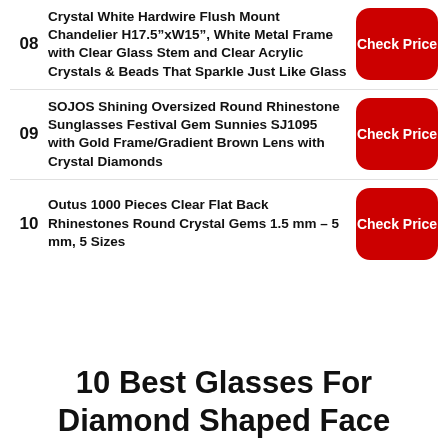08 Crystal White Hardwire Flush Mount Chandelier H17.5”xW15”, White Metal Frame with Clear Glass Stem and Clear Acrylic Crystals & Beads That Sparkle Just Like Glass
09 SOJOS Shining Oversized Round Rhinestone Sunglasses Festival Gem Sunnies SJ1095 with Gold Frame/Gradient Brown Lens with Crystal Diamonds
10 Outus 1000 Pieces Clear Flat Back Rhinestones Round Crystal Gems 1.5 mm – 5 mm, 5 Sizes
10 Best Glasses For Diamond Shaped Face